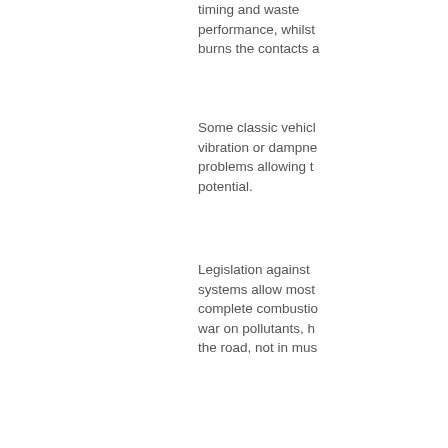timing and waste performance, whilst burns the contacts a
Some classic vehicl vibration or dampne problems allowing t potential.
Legislation against systems allow most complete combustio war on pollutants, h the road, not in mus